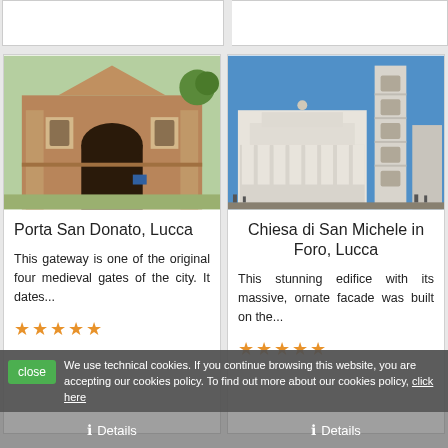[Figure (screenshot): Top partial card (left) - cut off at top]
[Figure (screenshot): Top partial card (right) - cut off at top]
[Figure (photo): Photo of Porta San Donato, Lucca - a brick medieval gate building with an arch]
Porta San Donato, Lucca
This gateway is one of the original four medieval gates of the city. It dates...
[Figure (photo): Photo of Chiesa di San Michele in Foro, Lucca - white ornate Romanesque church with tall tower]
Chiesa di San Michele in Foro, Lucca
This stunning edifice with its massive, ornate facade was built on the...
We use technical cookies. If you continue browsing this website, you are accepting our cookies policy. To find out more about our cookies policy, click here